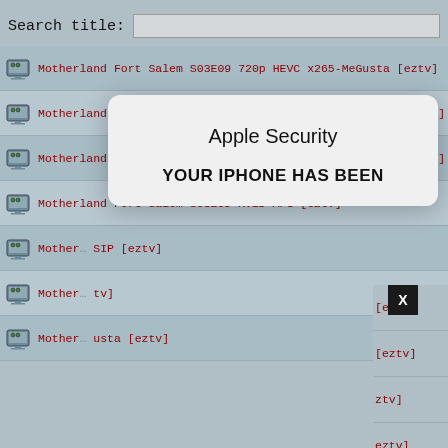Search title:
Motherland Fort Salem S03E09 720p HEVC x265-MeGusta [eztv]
Motherland Fort Salem S03E09 720p WEB H264-PLZPROPER [eztv]
Motherland Fort Salem S03E09 1080p HEVC x265-MeGusta [eztv]
Motherland Fort Salem S03E09 XviD-AFG [eztv]
Mother... SIP [eztv]
Mother... tv]
Mother... usta [eztv]
[Figure (screenshot): Apple Security popup dialog overlaying a torrent search results page. The popup reads 'Apple Security' as title and 'YOUR IPHONE HAS BEEN' in bold as body text. A black X close button is visible in the top-right corner of the popup area.]
[eztv]
[eztv]
ztv]
eztv]
cv]
[eztv]
ztv]